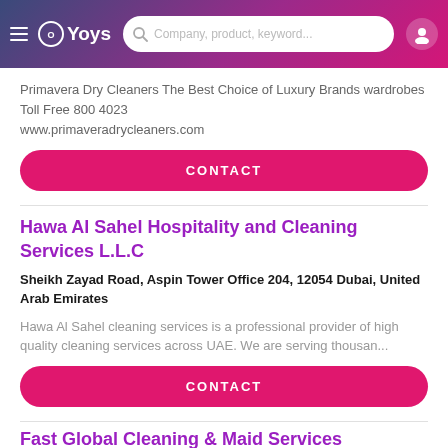OYoys — Company, product, keyword...
Primavera Dry Cleaners The Best Choice of Luxury Brands wardrobes Toll Free 800 4023 www.primaveradrycleaners.com
CONTACT
Hawa Al Sahel Hospitality and Cleaning Services L.L.C
Sheikh Zayad Road, Aspin Tower Office 204, 12054 Dubai, United Arab Emirates
Hawa Al Sahel cleaning services is a professional provider of high quality cleaning services across UAE. We are serving thousan...
CONTACT
Fast Global Cleaning & Maid Services
Port Saood, 00000 Dubai, United Arab Emirates